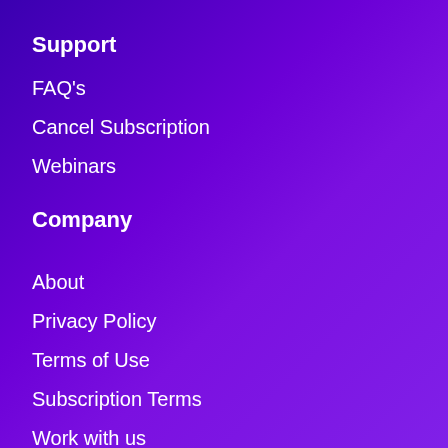Support
FAQ's
Cancel Subscription
Webinars
Company
About
Privacy Policy
Terms of Use
Subscription Terms
Work with us
Sitemap